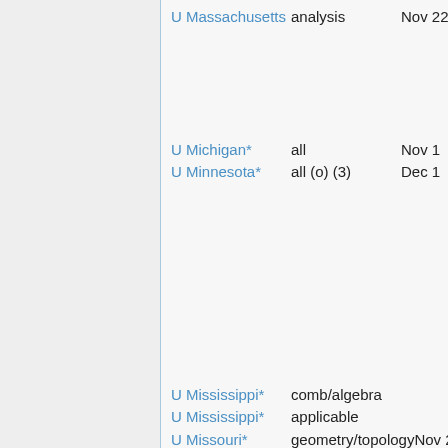U Massachusetts   analysis   Nov 22
U Michigan*   all   Nov 1
U Minnesota*   all (o) (3)   Dec 1
U Mississippi*   comb/algebra
U Mississippi*   applicable
U Missouri*   geometry/topology   Nov 25